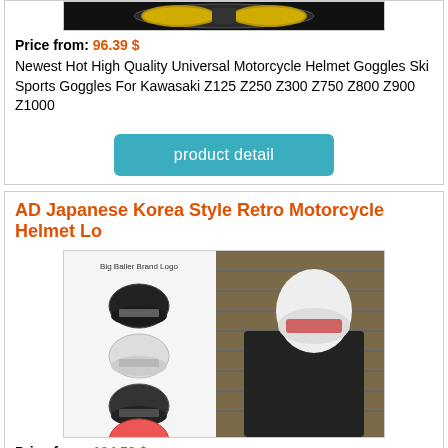[Figure (photo): Motorcycle helmet goggles product image, partially visible at top]
Price from: 96.39 $
Newest Hot High Quality Universal Motorcycle Helmet Goggles Ski Sports Goggles For Kawasaki Z125 Z250 Z300 Z750 Z800 Z900 Z1000
[Figure (other): product detail button]
AD Japanese Korea Style Retro Motorcycle Helmet Lo
[Figure (photo): AD Japanese Korea Style Retro Motorcycle Helmet product image showing multiple helmet color variants and a rider wearing the helmet]
Price from: 104.52 $
AD Japanese Korea Style Retro Motorcycle Helmet Locomotive